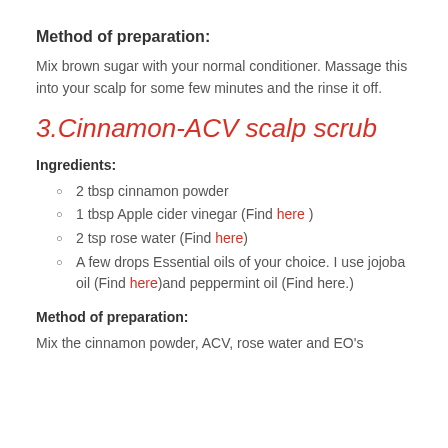Method of preparation:
Mix brown sugar with your normal conditioner. Massage this into your scalp for some few minutes and the rinse it off.
3.Cinnamon-ACV scalp scrub
Ingredients:
2 tbsp cinnamon powder
1 tbsp Apple cider vinegar (Find here )
2 tsp rose water (Find here)
A few drops Essential oils of your choice. I use jojoba oil (Find here)and peppermint oil (Find here.)
Method of preparation:
Mix the cinnamon powder, ACV, rose water and EO's